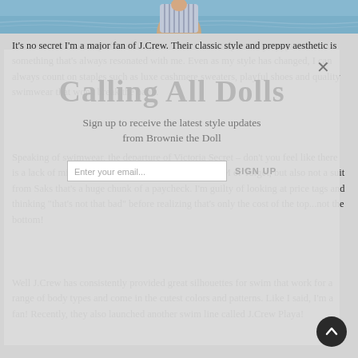[Figure (photo): Partial view of a person in a striped swimsuit against a blue water background, cropped at the top of the page.]
It's no secret I'm a major fan of J.Crew. Their classic style and preppy aesthetic is something that's always resonated with me. Even as my style has changed, I can always count on staples such as luxe cashmere sweaters, playful shoes and quality swimwear that won't break the bank.
[Figure (screenshot): Modal popup overlay with title 'Calling All Dolls', subtitle 'Sign up to receive the latest style updates from Brownie the Doll', email input field, SIGN UP button, and close X button.]
Speaking of swimwear, the departure of Victoria Secret – don't you feel like there is a lack of mid-range swim options? Ie – not an H&M or Target, but also not a suit from Saks that's a huge chunk of a paycheck. I'm guilty of looking at price tags and thinking "that's not that bad" before realizing that's only the cost of the top...not the bottom!
Well J.Crew has consistently provided great silhouettes for swim that work for a range of body types and come in the cutest colors and patterns. Like I said, I'm a fan! Recently, they also launched another swim line called J.Crew Playa!